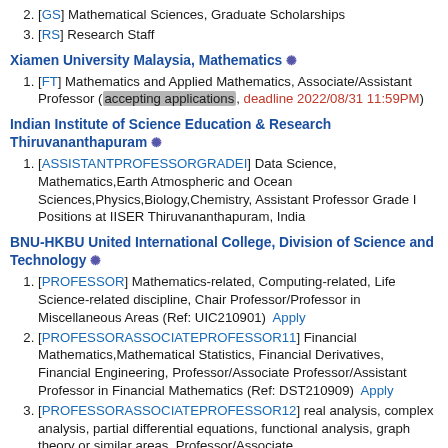[GS] Mathematical Sciences, Graduate Scholarships
[RS] Research Staff
Xiamen University Malaysia, Mathematics ❋
[FT] Mathematics and Applied Mathematics, Associate/Assistant Professor (accepting applications, deadline 2022/08/31 11:59PM)
Indian Institute of Science Education & Research Thiruvananthapuram ❋
[ASSISTANTPROFESSORGRADEI] Data Science, Mathematics,Earth Atmospheric and Ocean Sciences,Physics,Biology,Chemistry, Assistant Professor Grade I Positions at IISER Thiruvananthapuram, India
BNU-HKBU United International College, Division of Science and Technology ❋
[PROFESSOR] Mathematics-related, Computing-related, Life Science-related discipline, Chair Professor/Professor in Miscellaneous Areas (Ref: UIC210901) Apply
[PROFESSORASSOCIATEPROFESSOR11] Financial Mathematics,Mathematical Statistics, Financial Derivatives, Financial Engineering, Professor/Associate Professor/Assistant Professor in Financial Mathematics (Ref: DST210909) Apply
[PROFESSORASSOCIATEPROFESSOR12] real analysis, complex analysis, partial differential equations, functional analysis, graph theory or similar areas, Professor/Associate...